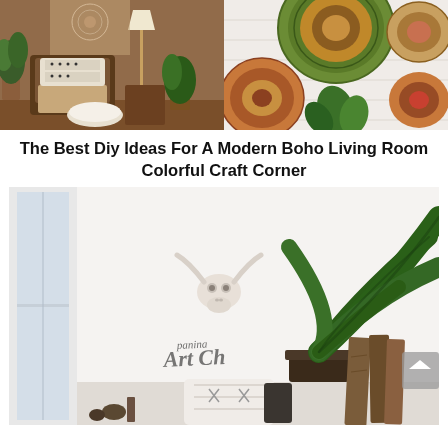[Figure (photo): Two photos side by side: left shows a boho living room corner with wicker chair, patterned pillows, plants and a lamp; right shows decorative woven baskets/plates hung on a white brick wall with green leaves.]
The Best Diy Ideas For A Modern Boho Living Room Colorful Craft Corner
[Figure (photo): A minimalist boho living room with white walls, a large tropical banana leaf plant in a dark pot, a white skull wall decoration, script lettering art on the wall, a white tufted pillow, reclaimed wood decor pieces, and a window on the left.]